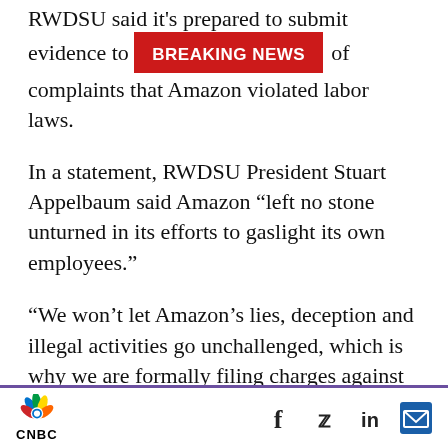RWDSU said it's prepared to submit evidence to [BREAKING NEWS banner] of complaints that Amazon violated labor laws.
In a statement, RWDSU President Stuart Appelbaum said Amazon “left no stone unturned in its efforts to gaslight its own employees.”
“We won’t let Amazon’s lies, deception and illegal activities go unchallenged, which is why we are formally filing charges against all of the egregious and blatantly illegal actions taken by Amazon during the union vote,” Appelbaum said. “We demand a comprehensive investigation over Amazon’s behavior in corrupting this election.”
CNBC [social icons: Facebook, Twitter, LinkedIn, Email]